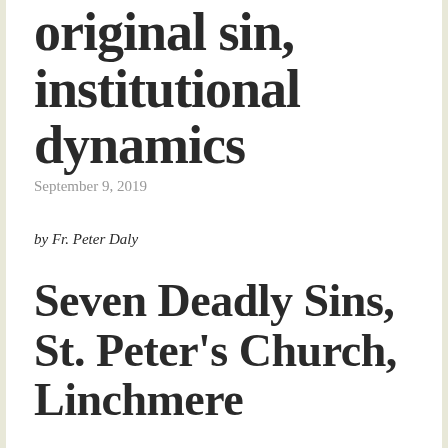original sin, institutional dynamics
September 9, 2019
by Fr. Peter Daly
Seven Deadly Sins, St. Peter's Church, Linchmere